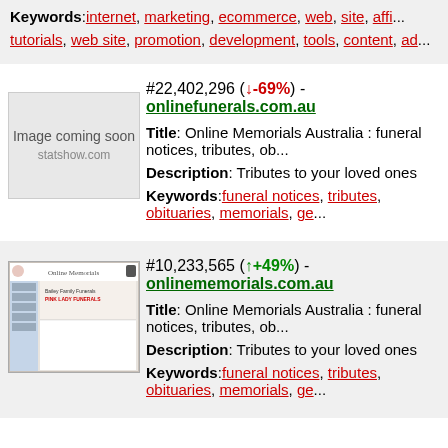Keywords: internet, marketing, ecommerce, web, site, affi... tutorials, web site, promotion, development, tools, content, ad...
#22,402,296 (↓-69%) - onlinefunerals.com.au
[Figure (other): Image coming soon placeholder from statshow.com]
Title: Online Memorials Australia : funeral notices, tributes, ob...
Description: Tributes to your loved ones
Keywords: funeral notices, tributes, obituaries, memorials, ge...
[Figure (screenshot): Screenshot thumbnail of onlinememorials.com.au showing Online Memorials website]
#10,233,565 (↑+49%) - onlinememorials.com.au
Title: Online Memorials Australia : funeral notices, tributes, ob...
Description: Tributes to your loved ones
Keywords: funeral notices, tributes, obituaries, memorials, ge...